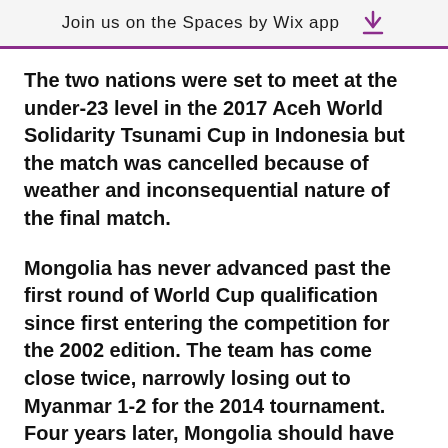Join us on the Spaces by Wix app
The two nations were set to meet at the under-23 level in the 2017 Aceh World Solidarity Tsunami Cup in Indonesia but the match was cancelled because of weather and inconsequential nature of the final match.
Mongolia has never advanced past the first round of World Cup qualification since first entering the competition for the 2002 edition. The team has come close twice, narrowly losing out to Myanmar 1-2 for the 2014 tournament. Four years later, Mongolia should have advanced after Timor-Leste fielded nine